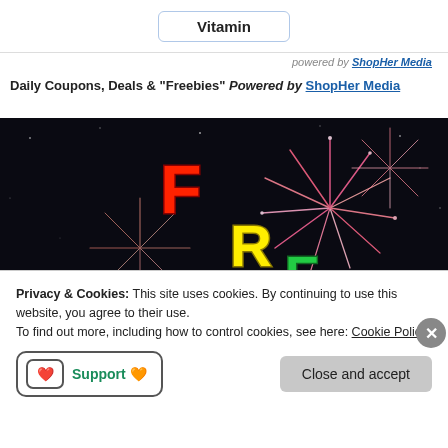Vitamin
powered by ShopHer Media
Daily Coupons, Deals & "Freebies" Powered by ShopHer Media
[Figure (photo): Colorful FREEBIE letters over fireworks and hand holding credit card on dark background]
Privacy & Cookies: This site uses cookies. By continuing to use this website, you agree to their use.
To find out more, including how to control cookies, see here: Cookie Policy
Support 🧡  Close and accept